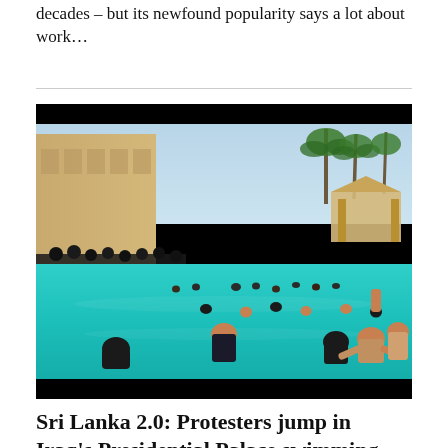decades – but its newfound popularity says a lot about work...
[Figure (photo): Protesters swimming in Iraq's Presidential Palace swimming pool, a large outdoor pool with turquoise water, palm trees, and a gazebo in the background. Many people are in the pool and gathered around it.]
Sri Lanka 2.0: Protesters jump in Iraq's Presidential Palace swimming pool